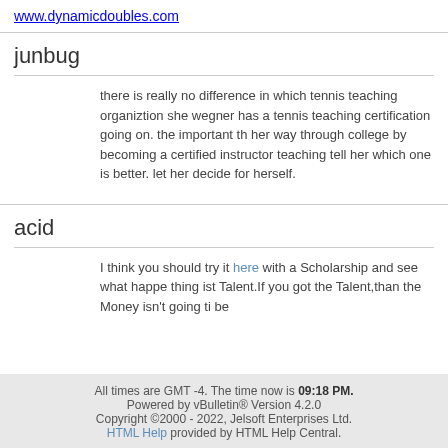www.dynamicdoubles.com
junbug
there is really no difference in which tennis teaching organiztion she wegner has a tennis teaching certification going on. the important th her way through college by becoming a certified instructor teaching tell her which one is better. let her decide for herself.
acid
I think you should try it here with a Scholarship and see what happe thing ist Talent.If you got the Talent,than the Money isn't going ti be
All times are GMT -4. The time now is 09:18 PM.
Powered by vBulletin® Version 4.2.0
Copyright ©2000 - 2022, Jelsoft Enterprises Ltd.
HTML Help provided by HTML Help Central.